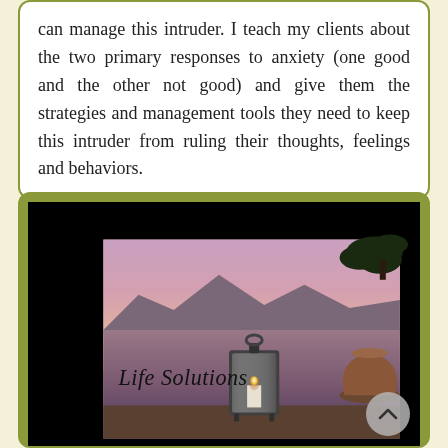can manage this intruder. I teach my clients about the two primary responses to anxiety (one good and the other not good) and give them the strategies and management tools they need to keep this intruder from ruling their thoughts, feelings and behaviors.
[Figure (photo): A photo showing a lantern with a candle lit on a surface near water at sunset/dusk, with a plant silhouette in the upper right and a decorative vase on the right. Text overlay reads 'Life Solutions' in italic script. The image has a black border/background area.]